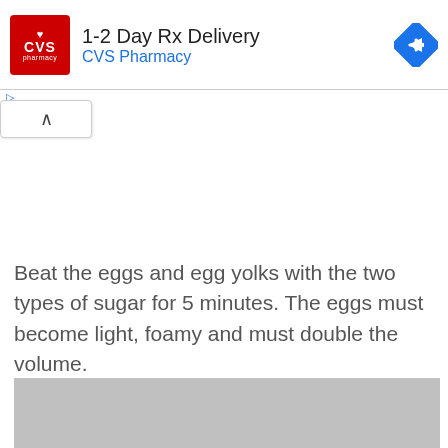[Figure (screenshot): CVS Pharmacy advertisement banner showing red CVS logo, text '1-2 Day Rx Delivery' and 'CVS Pharmacy' in blue, with a blue navigation/direction icon on the right]
Beat the eggs and egg yolks with the two types of sugar for 5 minutes. The eggs must become light, foamy and must double the volume.
[Figure (photo): Gray placeholder image (content partially visible at bottom of page)]